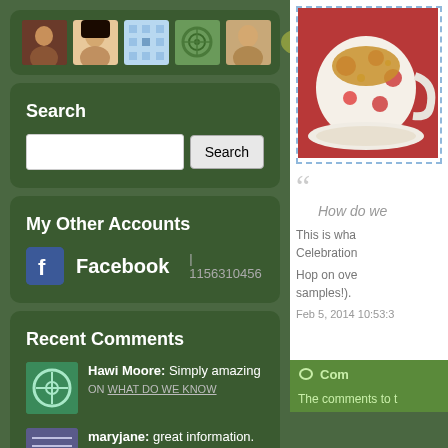[Figure (illustration): Row of 6 avatar/profile images in a dark green rounded box]
Search
[Figure (screenshot): Search input field with Search button]
My Other Accounts
Facebook | 1156310456
Recent Comments
Hawi Moore: Simply amazing
ON WHAT DO WE KNOW
maryjane: great information.
ON BOOKS
[Figure (photo): Photo of a tea cup with floral pattern on a red surface]
How do we
This is wha Celebration
Hop on ove samples!).
Feb 5, 2014 10:53:3
Com
The comments to t